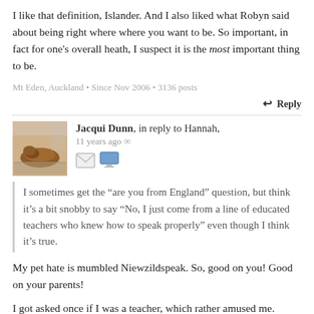I like that definition, Islander. And I also liked what Robyn said about being right where where you want to be. So important, in fact for one's overall heath, I suspect it is the most important thing to be.
Mt Eden, Auckland • Since Nov 2006 • 3136 posts
↩ Reply
Jacqui Dunn, in reply to Hannah, 11 years ago ∞
I sometimes get the “are you from England” question, but think it’s a bit snobby to say “No, I just come from a line of educated teachers who knew how to speak properly” even though I think it’s true.
My pet hate is mumbled Niewzildspeak. So, good on you! Good on your parents!
I got asked once if I was a teacher, which rather amused me. Why? Because “you speak so nicely”. Had to laugh at that. I sat in on a lesson in an Esol class once, where they were doing “ing” words.